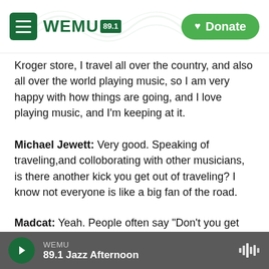WEMU 89.1 — Navigation header with Donate button
Kroger store, I travel all over the country, and also all over the world playing music, so I am very happy with how things are going, and I love playing music, and I'm keeping at it.
Michael Jewett: Very good. Speaking of traveling,and colloborating with other musicians, is there another kick you get out of traveling? I know not everyone is like a big fan of the road.
Madcat: Yeah. People often say "Don't you get tired of all that touring around" and actually the answer is still no. I mean even though in February I was
WEMU — 89.1 Jazz Afternoon